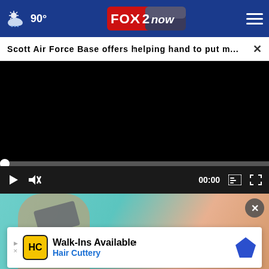FOX 2 now — 90° weather indicator and navigation
Scott Air Force Base offers helping hand to put m...
[Figure (screenshot): Black video player area with progress bar showing 00:00, play button, mute button, caption button, and fullscreen button on dark controls bar]
[Figure (photo): Advertisement showing a person holding a credit card against a teal background, with Hair Cuttery Walk-Ins Available ad banner overlay]